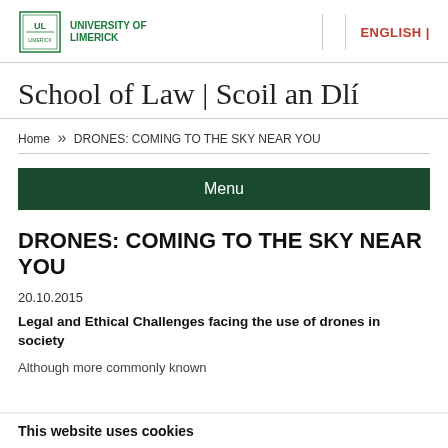UNIVERSITY OF LIMERICK | ENGLISH
School of Law | Scoil an Dlí
Home » DRONES: COMING TO THE SKY NEAR YOU
Menu
DRONES: COMING TO THE SKY NEAR YOU
20.10.2015
Legal and Ethical Challenges facing the use of drones in society
Although more commonly known
This website uses cookies